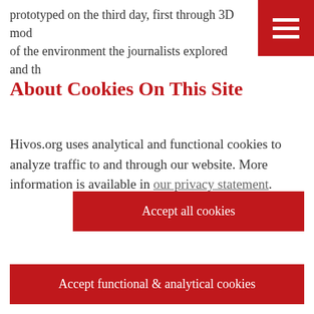prototyped on the third day, first through 3D mod of the environment the journalists explored and th
About Cookies On This Site
Hivos.org uses analytical and functional cookies to analyze traffic to and through our website. More information is available in our privacy statement.
Accept all cookies
Accept functional & analytical cookies